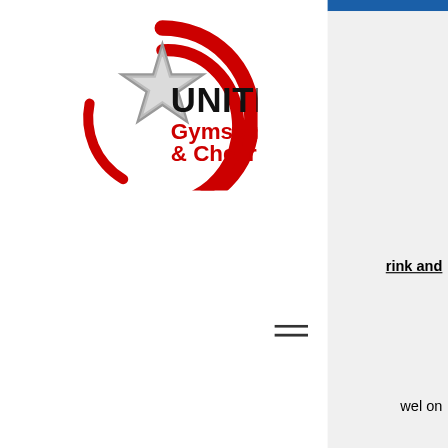[Figure (logo): United Gymstars & Cheer logo — circular red swoosh design with a star in the center, black bold text reading UNITED, red text reading Gymstars & Cheer]
rink and
wel on
LE
-If you child has a scheduled class during camp, he/she will attend class and then come back to camp.
-Payments are due at the time of drop off (no exceptions) if not paid before (no exceptions)
-A late fee of $15 every 15 minutes late will be charged for all children not picked up by